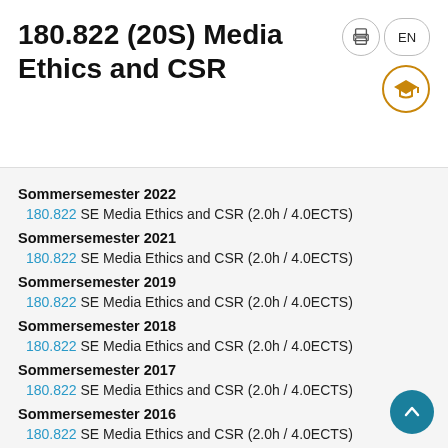180.822 (20S) Media Ethics and CSR
Sommersemester 2022
180.822 SE Media Ethics and CSR (2.0h / 4.0ECTS)
Sommersemester 2021
180.822 SE Media Ethics and CSR (2.0h / 4.0ECTS)
Sommersemester 2019
180.822 SE Media Ethics and CSR (2.0h / 4.0ECTS)
Sommersemester 2018
180.822 SE Media Ethics and CSR (2.0h / 4.0ECTS)
Sommersemester 2017
180.822 SE Media Ethics and CSR (2.0h / 4.0ECTS)
Sommersemester 2016
180.822 SE Media Ethics and CSR (2.0h / 4.0ECTS)